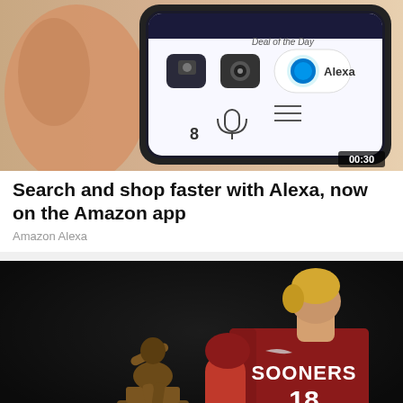[Figure (photo): Smartphone screen showing Amazon app with Alexa, Deal of the Day, camera icons. Video duration badge showing 00:30.]
Search and shop faster with Alexa, now on the Amazon app
Amazon Alexa
[Figure (photo): Young man in Oklahoma Sooners red jersey number 18 posing with Heisman Trophy statue against dark background.]
The Worst Heisman Winners To Ever Play In The NFL
The Sports Drop